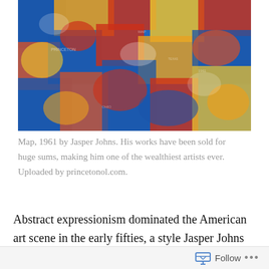[Figure (illustration): A colorful abstract painting — Map, 1961 by Jasper Johns — featuring bold swaths of blue, red, orange, and yellow paint across an abstract map shape.]
Map, 1961 by Jasper Johns. His works have been sold for huge sums, making him one of the wealthiest artists ever. Uploaded by princetonol.com.
Abstract expressionism dominated the American art scene in the early fifties, a style Jasper Johns never identified with. He went in another direction, becoming an influence in the movement commonly called Pop Art. He took ordinary flat, two-dimensional objects – flags, targets,
Follow ...